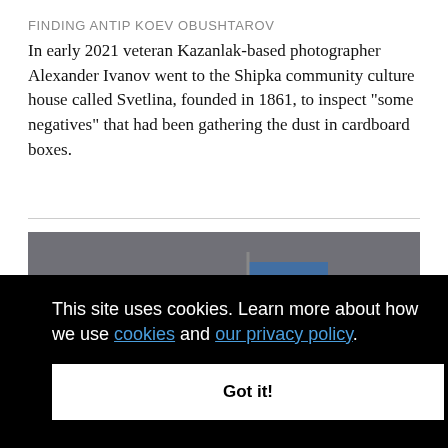FINDING ANTIP KOEV OBUSHTAROV
In early 2021 veteran Kazanlak-based photographer Alexander Ivanov went to the Shipka community culture house called Svetlina, founded in 1861, to inspect "some negatives" that had been gathering the dust in cardboard boxes.
[Figure (photo): Bronze monument sculpture showing soldiers with a Ukrainian flag, painted blue and yellow on the central figure]
This site uses cookies. Learn more about how we use cookies and our privacy policy.
Got it!